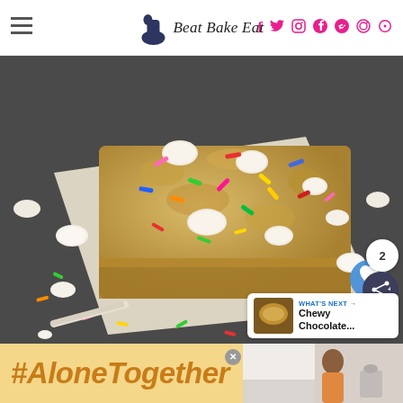Beat Bake Eat
[Figure (photo): Close-up photo of a funfetti blondie bar topped with white chocolate chips and colorful rainbow sprinkles, sitting on parchment paper with a dark background and scattered sprinkles and chocolate chips around it.]
WHAT'S NEXT → Chewy Chocolate...
#AloneTogether